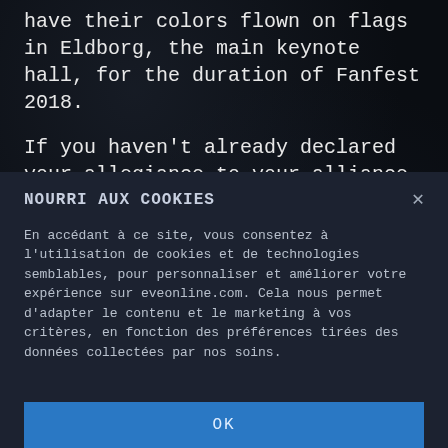have their colors flown on flags in Eldborg, the main keynote hall, for the duration of Fanfest 2018.
If you haven't already declared your allegiance to your alliance, you can do so via Eventbrite, when you purchase your ticket.
If you've already bought your ticket and didn't fill in the details, then you can always go back to Eventbrite and
NOURRI AUX COOKIES
En accédant à ce site, vous consentez à l'utilisation de cookies et de technologies semblables, pour personnaliser et améliorer votre expérience sur eveonline.com. Cela nous permet d'adapter le contenu et le marketing à vos critères, en fonction des préférences tirées des données collectées par nos soins.
OK